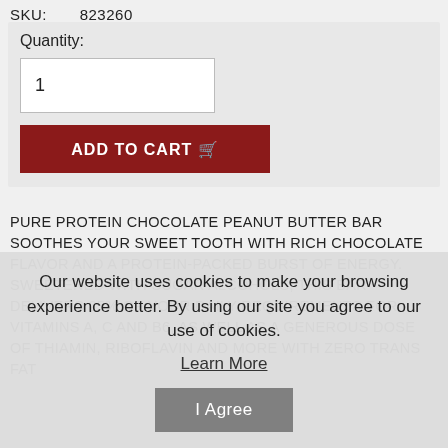SKU:    823260
Quantity:
1
ADD TO CART
PURE PROTEIN CHOCOLATE PEANUT BUTTER BAR SOOTHES YOUR SWEET TOOTH WITH RICH CHOCOLATE FLAVOR AND A PROTEIN-PACKED BURST OF ENERGY. SWEETENED WITH SUGAR ALCOHOLS, THIS BAR DELIVERS 25% OF YOUR DAILY REQUIREMENTS FOR VITAMINS A, C AND B6, AS WELL AS A GENEROUS DOSE OF THIAMIN, RIBOFLAVIN AND MORE WITH ZERO TRANS FAT
Our website uses cookies to make your browsing experience better. By using our site you agree to our use of cookies.
Learn More
I Agree